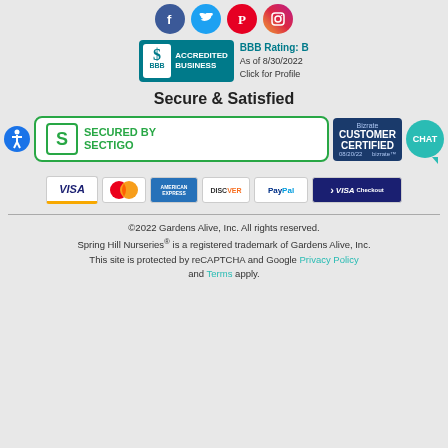[Figure (logo): Social media icons row: Facebook, Twitter, Pinterest, Instagram]
[Figure (logo): BBB Accredited Business badge with BBB Rating: B, As of 8/30/2022, Click for Profile]
Secure & Satisfied
[Figure (logo): Accessibility icon (blue circle with person), Secured by Sectigo badge (green), Bizrate Customer Certified badge (08/20/22), Chat bubble]
[Figure (logo): Payment method icons: Visa, MasterCard, American Express, Discover, PayPal, Visa Checkout]
©2022 Gardens Alive, Inc. All rights reserved. Spring Hill Nurseries® is a registered trademark of Gardens Alive, Inc. This site is protected by reCAPTCHA and Google Privacy Policy and Terms apply.